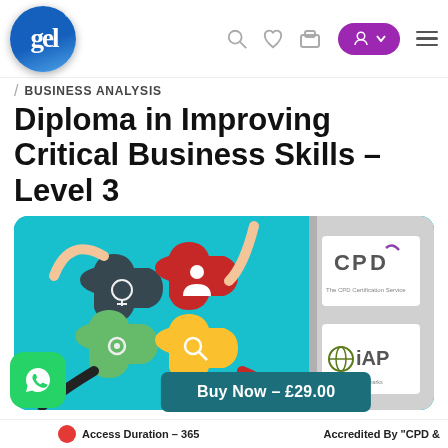[Figure (logo): gel e-learning website logo: blue circle with 'gel' text]
Navigation header with logo, search, wishlist, cart, account and menu icons
/ BUSINESS ANALYSIS
Diploma in Improving Critical Business Skills – Level 3
[Figure (illustration): Illustration of four puzzle pieces being assembled by hands against a teal background, with CPD and iAP accreditation logos on the right]
Buy Now – £29.00
Access Duration – 365
Accredited By "CPD &